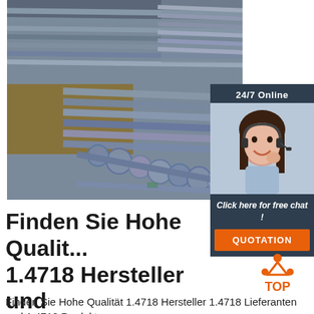[Figure (photo): Stacked steel bars/rods and pipes in a yard, industrial metal stock]
[Figure (infographic): 24/7 Online chat box with woman wearing headset, orange QUOTATION button]
Finden Sie Hohe Qualit... 1.4718 Hersteller und 1.4718 auf ...
[Figure (logo): TOP logo with orange triangle/dots design]
Finden Sie Hohe Qualität 1.4718 Hersteller 1.4718 Lieferanten und 1.4718 Produkte zum